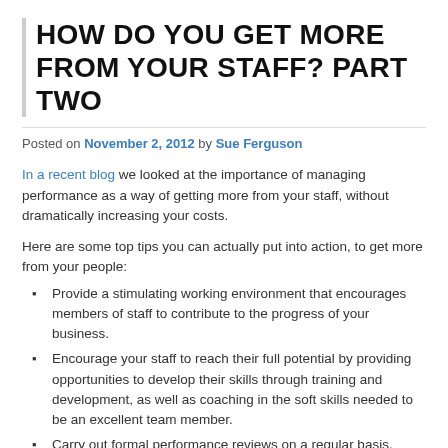HOW DO YOU GET MORE FROM YOUR STAFF? PART TWO
Posted on November 2, 2012 by Sue Ferguson
In a recent blog we looked at the importance of managing performance as a way of getting more from your staff, without dramatically increasing your costs.
Here are some top tips you can actually put into action, to get more from your people:
Provide a stimulating working environment that encourages members of staff to contribute to the progress of your business.
Encourage your staff to reach their full potential by providing opportunities to develop their skills through training and development, as well as coaching in the soft skills needed to be an excellent team member.
Carry out formal performance reviews on a regular basis, setting clear objectives and achievable targets; don't wait for annual appraisals.
Build good relationships by providing regular informal…